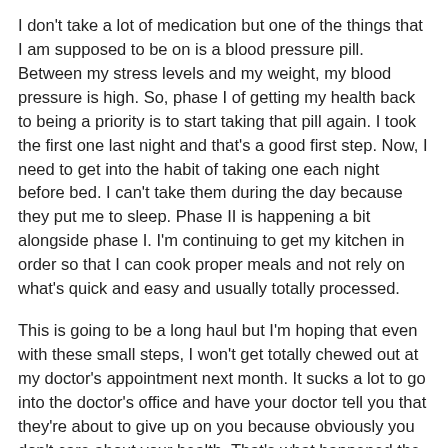I don't take a lot of medication but one of the things that I am supposed to be on is a blood pressure pill. Between my stress levels and my weight, my blood pressure is high. So, phase I of getting my health back to being a priority is to start taking that pill again. I took the first one last night and that's a good first step. Now, I need to get into the habit of taking one each night before bed. I can't take them during the day because they put me to sleep. Phase II is happening a bit alongside phase I. I'm continuing to get my kitchen in order so that I can cook proper meals and not rely on what's quick and easy and usually totally processed.
This is going to be a long haul but I'm hoping that even with these small steps, I won't get totally chewed out at my doctor's appointment next month. It sucks a lot to go into the doctor's office and have your doctor tell you that they're about to give up on you because obviously you don't care about your health. That's what happened the last time I went in...I left really hurt because I'd actually started making changes and had lost about 10 pounds. This time, perhaps I'll stand up for myself if she doesn't see what she wants to see. I guess we'll see...